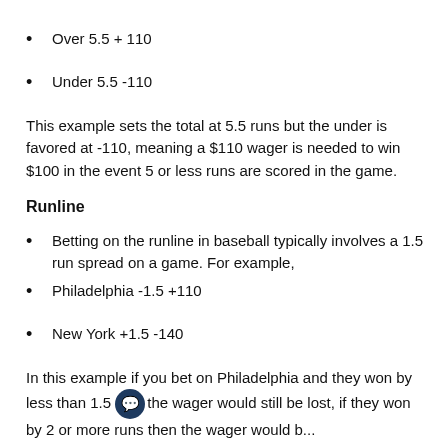Over 5.5 + 110
Under 5.5 -110
This example sets the total at 5.5 runs but the under is favored at -110, meaning a $110 wager is needed to win $100 in the event 5 or less runs are scored in the game.
Runline
Betting on the runline in baseball typically involves a 1.5 run spread on a game. For example,
Philadelphia -1.5 +110
New York +1.5 -140
In this example if you bet on Philadelphia and they won by less than 1.5 the wager would still be lost, if they won by 2 or more runs then the wager would be...